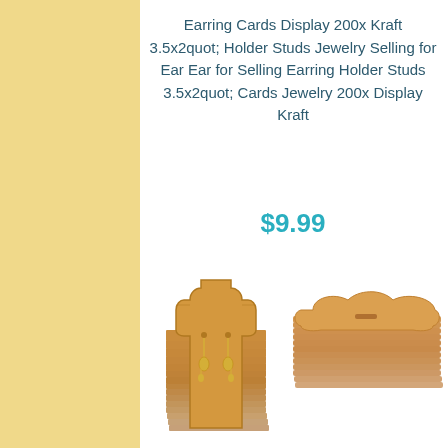Earring Cards Display 200x Kraft 3.5x2quot; Holder Studs Jewelry Selling for Ear Ear for Selling Earring Holder Studs 3.5x2quot; Cards Jewelry 200x Display Kraft
$9.99
[Figure (photo): Stacks of kraft paper earring display cards shaped like cacti and cloud/blob shapes. The front cactus-shaped card has gold dangle earrings hanging from holes near the top.]